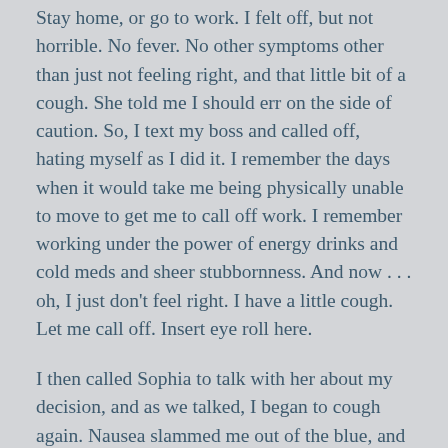Stay home, or go to work. I felt off, but not horrible. No fever. No other symptoms other than just not feeling right, and that little bit of a cough. She told me I should err on the side of caution. So, I text my boss and called off, hating myself as I did it. I remember the days when it would take me being physically unable to move to get me to call off work. I remember working under the power of energy drinks and cold meds and sheer stubbornness. And now . . . oh, I just don’t feel right. I have a little cough. Let me call off. Insert eye roll here.
I then called Sophia to talk with her about my decision, and as we talked, I began to cough again. Nausea slammed me out of the blue, and I cautiously told Sophia I would have to call her back.
And ran to the bathroom to expel every vitamin and bit of coffee I had drank thus far that morning. “There